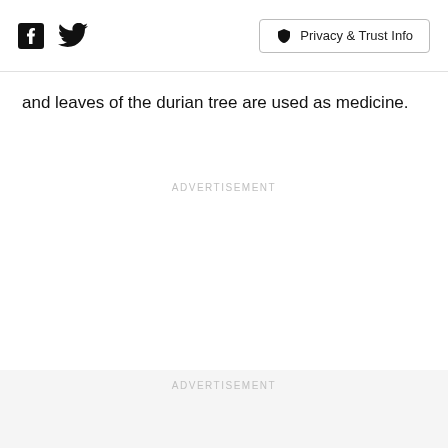Facebook | Twitter | Privacy & Trust Info
and leaves of the durian tree are used as medicine.
ADVERTISEMENT
ADVERTISEMENT